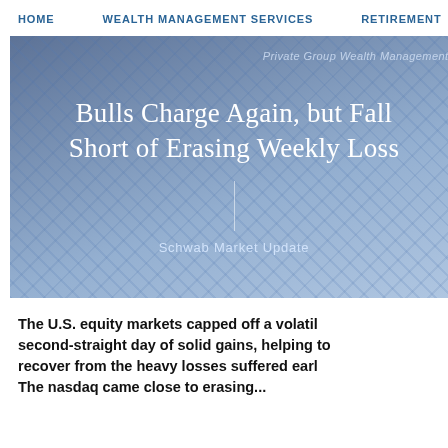HOME  WEALTH MANAGEMENT SERVICES  RETIREMENT
[Figure (photo): Blue-tinted financial photo background with text overlay showing article headline 'Bulls Charge Again, but Fall Short of Erasing Weekly Losses' and subtitle 'Schwab Market Update', with 'Private Group Wealth Management' visible at top]
The U.S. equity markets capped off a volatile week on a positive note, posting a second-straight day of solid gains, helping to recover from the heavy losses suffered earlier. The nasdaq came close to erasing...